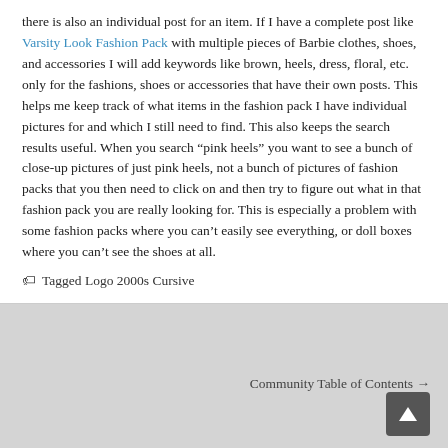there is also an individual post for an item. If I have a complete post like Varsity Look Fashion Pack with multiple pieces of Barbie clothes, shoes, and accessories I will add keywords like brown, heels, dress, floral, etc. only for the fashions, shoes or accessories that have their own posts. This helps me keep track of what items in the fashion pack I have individual pictures for and which I still need to find. This also keeps the search results useful. When you search “pink heels” you want to see a bunch of close-up pictures of just pink heels, not a bunch of pictures of fashion packs that you then need to click on and then try to figure out what in that fashion pack you are really looking for. This is especially a problem with some fashion packs where you can’t easily see everything, or doll boxes where you can’t see the shoes at all.
Tagged Logo 2000s Cursive
Community Table of Contents →